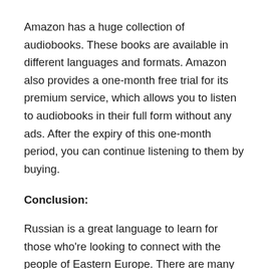Amazon has a huge collection of audiobooks. These books are available in different languages and formats. Amazon also provides a one-month free trial for its premium service, which allows you to listen to audiobooks in their full form without any ads. After the expiry of this one-month period, you can continue listening to them by buying.
Conclusion:
Russian is a great language to learn for those who're looking to connect with the people of Eastern Europe. There are many resources available online, which allow you to engage in Russian listening practice and improve your Russian speaking skills. Some of these resources include YouTube channels, audiobooks, and free online lessons. With the help of these resources, learning the